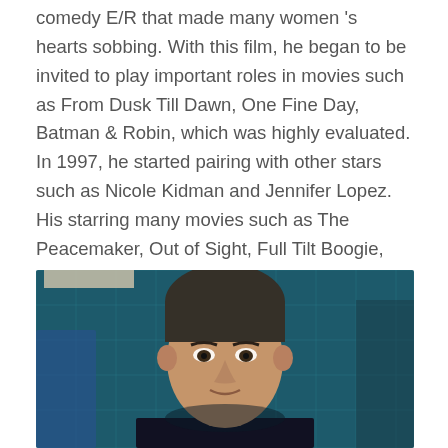comedy E/R that made many women 's hearts sobbing. With this film, he began to be invited to play important roles in movies such as From Dusk Till Dawn, One Fine Day, Batman & Robin, which was highly evaluated. In 1997, he started pairing with other stars such as Nicole Kidman and Jennifer Lopez. His starring many movies such as The Peacemaker, Out of Sight, Full Tilt Boogie, Three Kings were all praised by critics and audiences.
[Figure (photo): Portrait photo of a man (appears to be George Clooney) in a dark setting with teal/blue tiled background, looking at the camera]